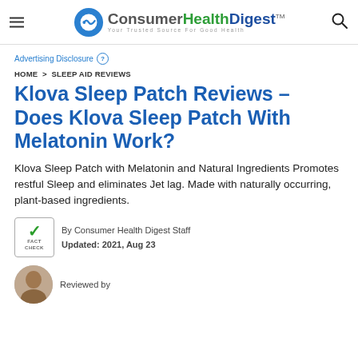Consumer Health Digest™ — Your Trusted Source For Good Health
Advertising Disclosure ?
HOME > SLEEP AID REVIEWS
Klova Sleep Patch Reviews – Does Klova Sleep Patch With Melatonin Work?
Klova Sleep Patch with Melatonin and Natural Ingredients Promotes restful Sleep and eliminates Jet lag. Made with naturally occurring, plant-based ingredients.
By Consumer Health Digest Staff
Updated: 2021, Aug 23
Reviewed by